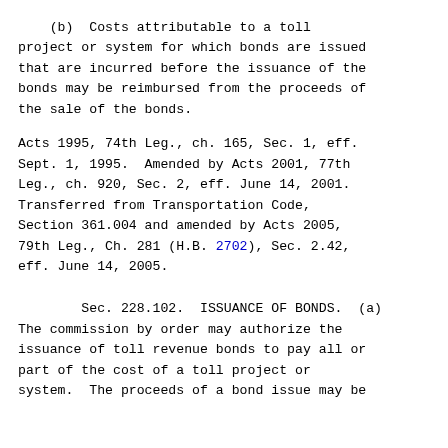(b)  Costs attributable to a toll project or system for which bonds are issued that are incurred before the issuance of the bonds may be reimbursed from the proceeds of the sale of the bonds.
Acts 1995, 74th Leg., ch. 165, Sec. 1, eff. Sept. 1, 1995.  Amended by Acts 2001, 77th Leg., ch. 920, Sec. 2, eff. June 14, 2001. Transferred from Transportation Code, Section 361.004 and amended by Acts 2005, 79th Leg., Ch. 281 (H.B. 2702), Sec. 2.42, eff. June 14, 2005.
Sec. 228.102.  ISSUANCE OF BONDS.  (a) The commission by order may authorize the issuance of toll revenue bonds to pay all or part of the cost of a toll project or system.  The proceeds of a bond issue may be